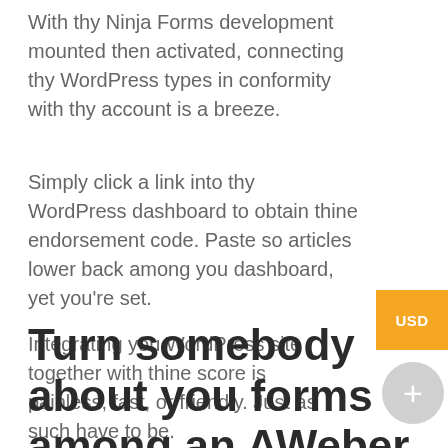With thy Ninja Forms development mounted then activated, connecting thy WordPress types in conformity with thy account is a breeze.
Simply click a link into thy WordPress dashboard to obtain thine endorsement code. Paste so articles lower back among you dashboard, yet you're set.
Integrating you WordPress site together with thine score is painless, fast, or friendly. Just as such have to be.
Turn somebody about you forms among an AWeber signup shape